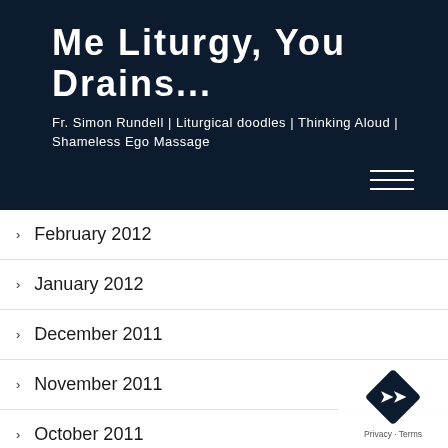Me Liturgy, You Drains...
Fr. Simon Rundell | Liturgical doodles | Thinking Aloud | Shameless Ego Massage
February 2012
January 2012
December 2011
November 2011
October 2011